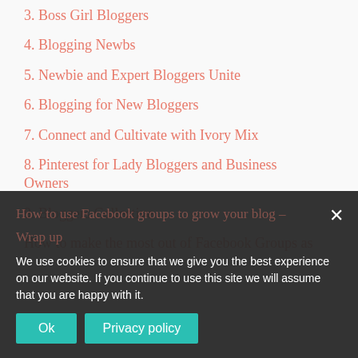3. Boss Girl Bloggers
4. Blogging Newbs
5. Newbie and Expert Bloggers Unite
6. Blogging for New Bloggers
7. Connect and Cultivate with Ivory Mix
8. Pinterest for Lady Bloggers and Business Owners
9. Bloggers Collective
How to make the most out of Facebook Groups as
How to use Facebook groups to grow your blog –
Wrap up
We use cookies to ensure that we give you the best experience on our website. If you continue to use this site we will assume that you are happy with it.